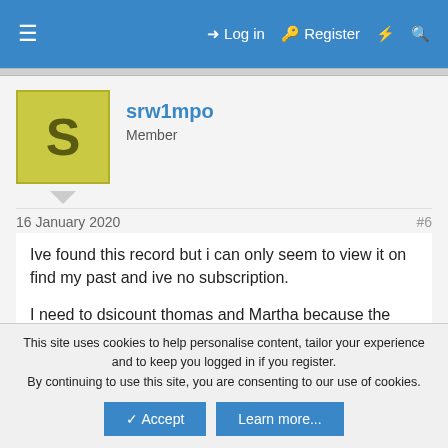≡  Log in  Register  ⚡  🔍
[Figure (screenshot): User avatar with letter S on olive/yellow background]
srw1mpo
Member
16 January 2020
#6
Ive found this record but i can only seem to view it on find my past and ive no subscription.
I need to dsicount thomas and Martha because the baptism date would put him at 63 not 62 on the 1861 census. Thats if he was baptised soon after birth.
Attachments
This site uses cookies to help personalise content, tailor your experience and to keep you logged in if you register.
By continuing to use this site, you are consenting to our use of cookies.